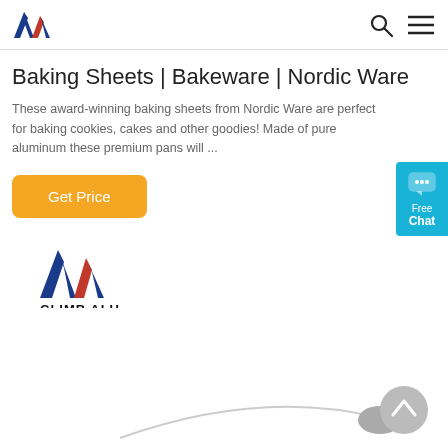Baking Sheets | Bakeware | Nordic Ware
Baking Sheets | Bakeware | Nordic Ware
These award-winning baking sheets from Nordic Ware are perfect for baking cookies, cakes and other goodies! Made of pure aluminum these premium pans will ...
Get Price
[Figure (logo): Climb Alu logo with triangular A shape in blue and red with text CLIMB ALU below]
[Figure (illustration): Partial view of baking sheet edge curving upward, grey circle scroll-to-top button visible]